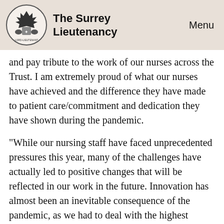The Surrey Lieutenancy | Menu
and pay tribute to the work of our nurses across the Trust. I am extremely proud of what our nurses have achieved and the difference they have made to patient care/commitment and dedication they have shown during the pandemic.
“While our nursing staff have faced unprecedented pressures this year, many of the challenges have actually led to positive changes that will be reflected in our work in the future. Innovation has almost been an inevitable consequence of the pandemic, as we had to deal with the highest number of patients the trust has ever seen, we have had to innovate to ensure the